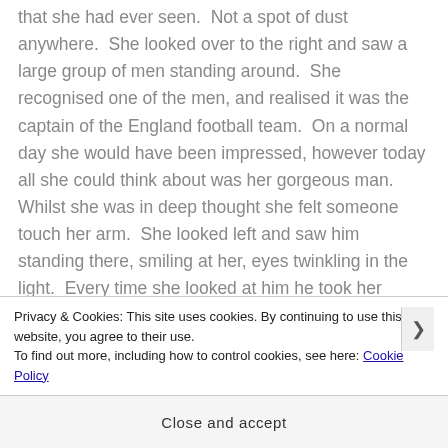that she had ever seen.  Not a spot of dust anywhere.  She looked over to the right and saw a large group of men standing around.  She recognised one of the men, and realised it was the captain of the England football team.  On a normal day she would have been impressed, however today all she could think about was her gorgeous man.  Whilst she was in deep thought she felt someone touch her arm.  She looked left and saw him standing there, smiling at her, eyes twinkling in the light.  Every time she looked at him he took her breath away.  She had never fancied a man so much.  Of course she had experienced lust on every level, but usually after getting to know a man a little bit more the lust
Privacy & Cookies: This site uses cookies. By continuing to use this website, you agree to their use.
To find out more, including how to control cookies, see here: Cookie Policy
Close and accept